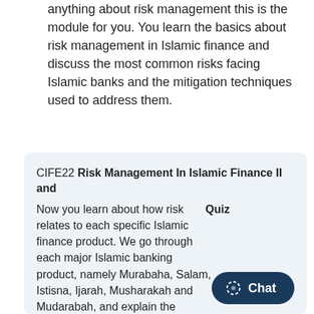anything about risk management this is the module for you. You learn the basics about risk management in Islamic finance and discuss the most common risks facing Islamic banks and the mitigation techniques used to address them.
CIFE22 Risk Management In Islamic Finance II and Quiz
Now you learn about how risk relates to each specific Islamic finance product. We go through each major Islamic banking product, namely Murabaha, Salam, Istisna, Ijarah, Musharakah and Mudarabah, and explain the specific risks associated with each.